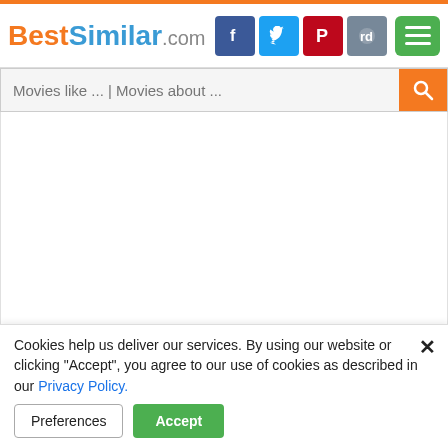BestSimilar.com
[Figure (screenshot): White content area placeholder for movie/show content]
Style: feel good, romantic, light, touching, sentimental ...
Cookies help us deliver our services. By using our website or clicking "Accept", you agree to our use of cookies as described in our Privacy Policy.